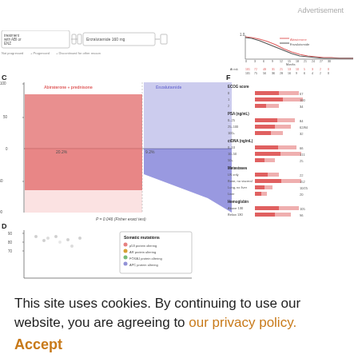Advertisement
[Figure (other): Medical research figures C, D, F showing waterfall plot of best PSA decline, somatic mutations scatter, and horizontal bar chart by ECOG score, PSA, ctDNA, Metastases, Hemoglobin subgroups. Survival curve panel at top right.]
This site uses cookies. By continuing to use our website, you are agreeing to our privacy policy. Accept